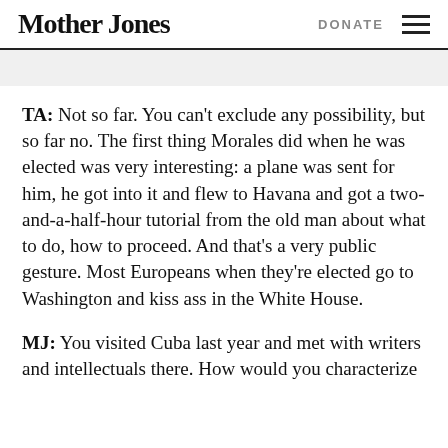Mother Jones | DONATE
TA: Not so far. You can't exclude any possibility, but so far no. The first thing Morales did when he was elected was very interesting: a plane was sent for him, he got into it and flew to Havana and got a two-and-a-half-hour tutorial from the old man about what to do, how to proceed. And that's a very public gesture. Most Europeans when they're elected go to Washington and kiss ass in the White House.
MJ: You visited Cuba last year and met with writers and intellectuals there. How would you characterize